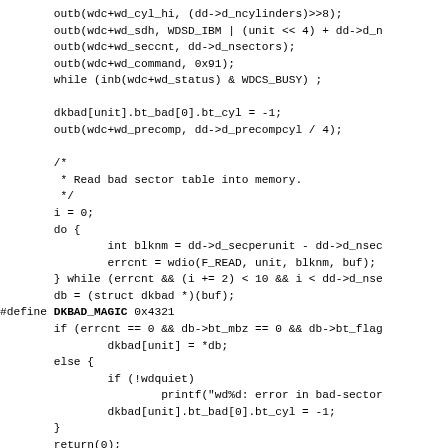outb(wdc+wd_cyl_hi, (dd->d_ncylinders)>>8);
        outb(wdc+wd_sdh, WDSD_IBM | (unit << 4) + dd->d_n
        outb(wdc+wd_seccnt, dd->d_nsectors);
        outb(wdc+wd_command, 0x91);
        while (inb(wdc+wd_status) & WDCS_BUSY) ;

        dkbad[unit].bt_bad[0].bt_cyl = -1;
        outb(wdc+wd_precomp, dd->d_precompcyl / 4);

        /*
         * Read bad sector table into memory.
         */
        i = 0;
        do {
                int blknm = dd->d_secperunit - dd->d_nsec
                errcnt = wdio(F_READ, unit, blknm, buf);
        } while (errcnt && (i += 2) < 10 && i < dd->d_nse
        db = (struct dkbad *)(buf);
#define DKBAD_MAGIC 0x4321
        if (errcnt == 0 && db->bt_mbz == 0 && db->bt_flag
                dkbad[unit] = *db;
        else {
                if (!wdquiet)
                        printf("wd%d: error in bad-sector
                dkbad[unit].bt_bad[0].bt_cyl = -1;
        }
        return(0);
}